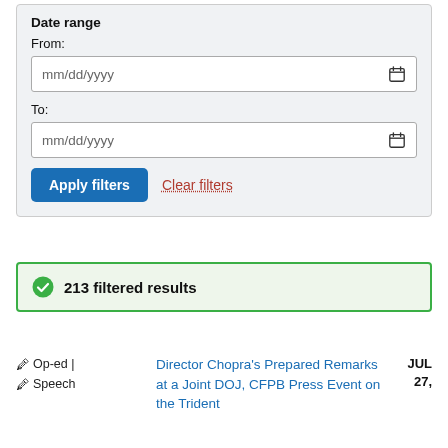Date range
From:
mm/dd/yyyy
To:
mm/dd/yyyy
Apply filters   Clear filters
213 filtered results
Op-ed | Speech  Director Chopra's Prepared Remarks at a Joint DOJ, CFPB Press Event on the Trident  JUL 27,